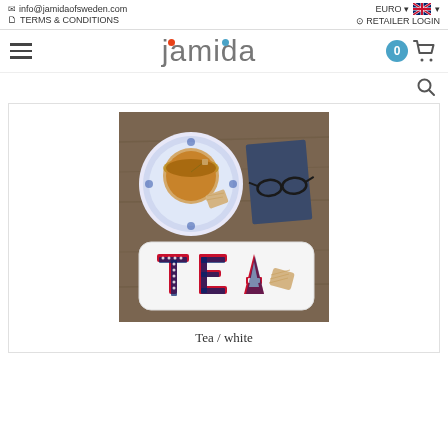info@jamidaofsweden.com | TERMS & CONDITIONS | EURO | RETAILER LOGIN
[Figure (logo): Jamida of Sweden logo with red and blue dots, hamburger menu icon, and shopping cart with badge showing 0]
[Figure (photo): Product photo: white rectangular tray with TEA letters in red and blue enamel style, alongside a cup of tea on a blue and white patterned saucer, biscuits, navy notebook, and glasses on a wooden surface]
Tea / white